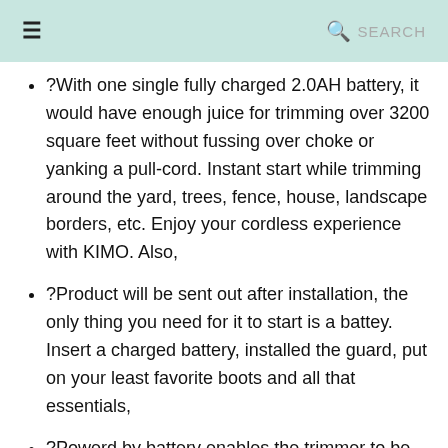≡  🔍 SEARCH
?With one single fully charged 2.0AH battery, it would have enough juice for trimming over 3200 square feet without fussing over choke or yanking a pull-cord. Instant start while trimming around the yard, trees, fence, house, landscape borders, etc. Enjoy your cordless experience with KIMO. Also,
?Product will be sent out after installation, the only thing you need for it to start is a battey. Insert a charged battery, installed the guard, put on your least favorite boots and all that essentials,
?Powerd by battery enables the trimmer to be more stable and always be ready for work, Easy lawn maintenance would be just a essy peasy work , just take the battery powered wood wacker out from